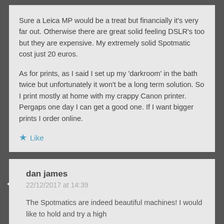Sure a Leica MP would be a treat but financially it's very far out. Otherwise there are great solid feeling DSLR's too but they are expensive. My extremely solid Spotmatic cost just 20 euros.

As for prints, as I said I set up my 'darkroom' in the bath twice but unfortunately it won't be a long term solution. So I print mostly at home with my crappy Canon printer. Pergaps one day I can get a good one. If I want bigger prints I order online.
★ Like
dan james
22/12/2017 at 14:39
The Spotmatics are indeed beautiful machines! I would like to hold and try a high